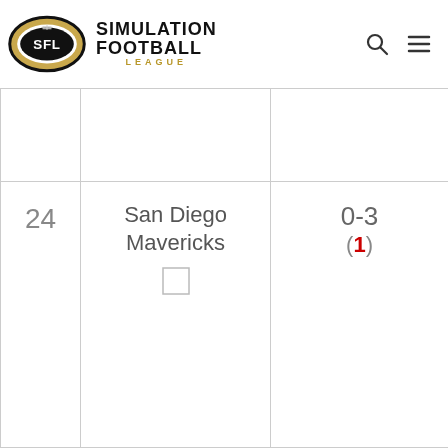[Figure (logo): Simulation Football League (SFL) logo - football shaped eye with SFL text, gold and black colors]
SIMULATION FOOTBALL LEAGUE
|  | Team | Record |
| --- | --- | --- |
|  |  |  |
| 24 | San Diego Mavericks | 0-3 (1) |